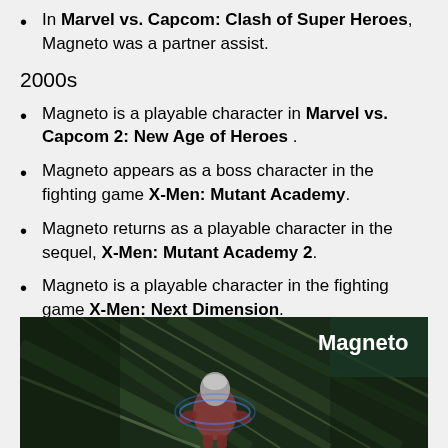In Marvel vs. Capcom: Clash of Super Heroes, Magneto was a partner assist.
2000s
Magneto is a playable character in Marvel vs. Capcom 2: New Age of Heroes .
Magneto appears as a boss character in the fighting game X-Men: Mutant Academy.
Magneto returns as a playable character in the sequel, X-Men: Mutant Academy 2.
Magneto is a playable character in the fighting game X-Men: Next Dimension.
[Figure (screenshot): Screenshot of Magneto character in a fighting video game, with a dark green and black background and the label 'Magneto' in the upper right corner.]